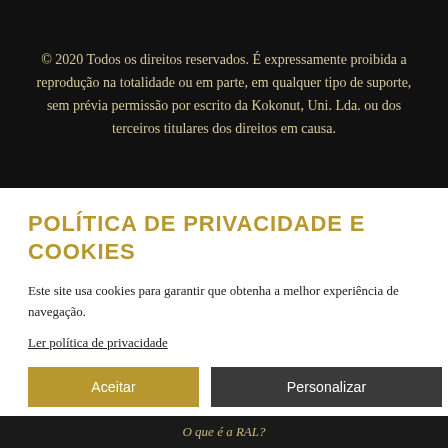© 2020 Todos os direitos reservados. É expressamente proibida a reprodução na totalidade ou em parte, em qualquer tipo de suporte, sem prévia permissão por escrito da Kokonut, Uni. Lda. ou dos terceiros titulares dos direitos em causa.
POLÍTICA DE PRIVACIDADE E COOKIES
Este site usa cookies para garantir que obtenha a melhor experiência de navegação.
Ler política de privacidade
Aceitar   Personalizar
O que é a RAL?